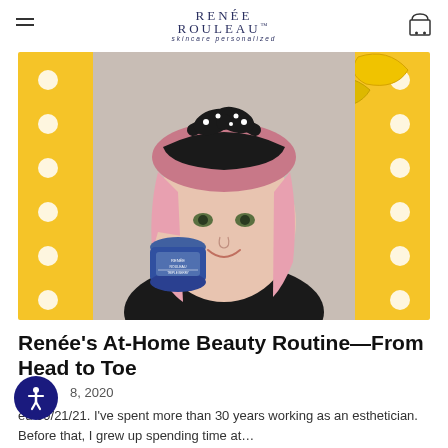RENÉE ROULEAU™ skincare personalized
[Figure (photo): Woman with pink hair holding a blue Renée Rouleau skincare product jar, wearing a black polka-dot headband, posed against a yellow background with white polka dots and banana illustrations]
Renée's At-Home Beauty Routine—From Head to Toe
8, 2020
ed 09/21/21. I've spent more than 30 years working as an esthetician. Before that, I grew up spending time at…